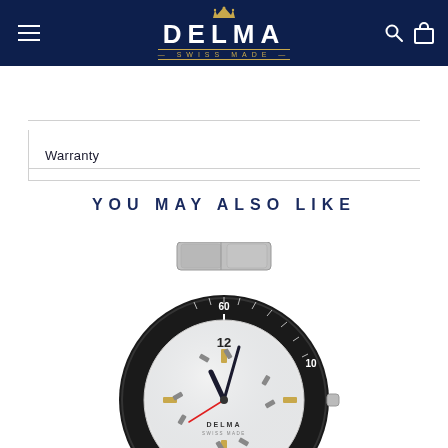DELMA SWISS MADE
Warranty
YOU MAY ALSO LIKE
[Figure (photo): A Delma Swiss Made dive watch with black bezel showing numerals 60, 50 and markers, white/mother-of-pearl dial with hour markers and '12' visible, stainless steel bracelet, partially cropped at bottom of page]